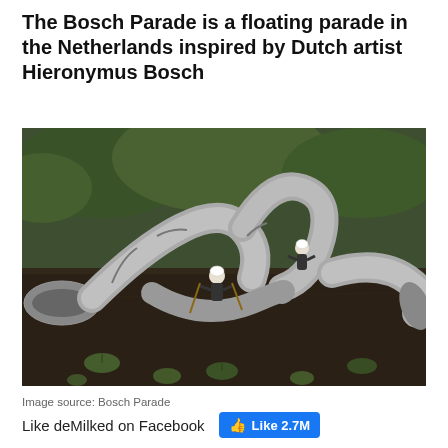The Bosch Parade is a floating parade in the Netherlands inspired by Dutch artist Hieronymus Bosch
[Figure (photo): Two people in dark jumpsuits and white helmets riding a giant silver serpentine horn-shaped float on a dark river with lily pads, green reeds in the background.]
Image source: Bosch Parade
Like deMilked on Facebook   Like 2.7M